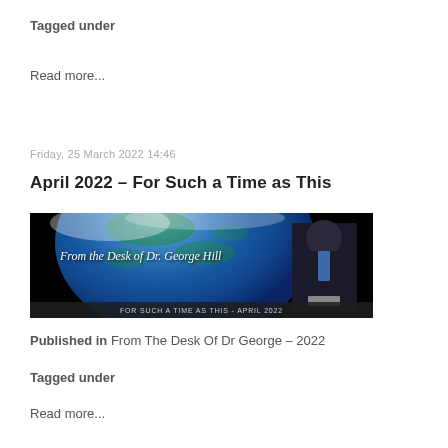Tagged under
Read more...
Friday, 25 March 2022 14:46
April 2022 – For Such a Time as This
[Figure (photo): Banner image showing Earth from space with text 'From the Desk of Dr. George Hill' and a man in a suit at the right side. Bottom bar reads 'FOR SUCH A TIME AS THIS - APRIL 2022']
Published in  From The Desk Of Dr George – 2022
Tagged under
Read more...